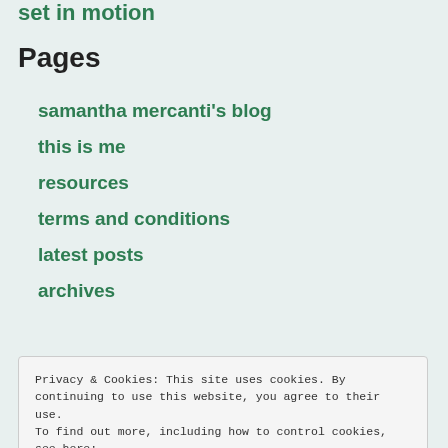set in motion
Pages
samantha mercanti's blog
this is me
resources
terms and conditions
latest posts
archives
Privacy & Cookies: This site uses cookies. By continuing to use this website, you agree to their use.
To find out more, including how to control cookies, see here:
Cookie Policy
Close and accept